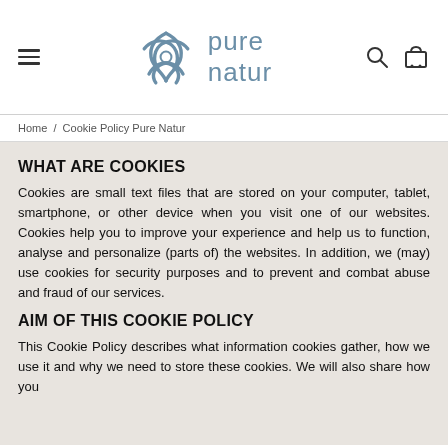pure natur
Home / Cookie Policy Pure Natur
WHAT ARE COOKIES
Cookies are small text files that are stored on your computer, tablet, smartphone, or other device when you visit one of our websites. Cookies help you to improve your experience and help us to function, analyse and personalize (parts of) the websites. In addition, we (may) use cookies for security purposes and to prevent and combat abuse and fraud of our services.
AIM OF THIS COOKIE POLICY
This Cookie Policy describes what information cookies gather, how we use it and why we need to store these cookies. We will also share how you